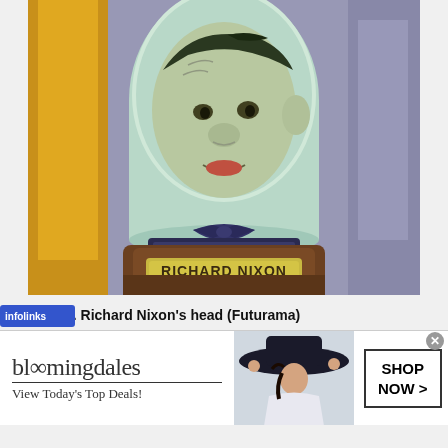[Figure (illustration): Cartoon illustration of Richard Nixon's disembodied head in a jar (from Futurama animated TV show), wearing a bow tie, with a nameplate reading 'RICHARD NIXON' on a podium-like jar base. Background shows purple/grey architectural elements and yellow/orange shapes on the sides.]
5. Richard Nixon's head (Futurama)
[Figure (screenshot): Bloomingdale's advertisement banner. Shows 'bloomingdales' logo in serif font, a horizontal divider line, text 'View Today's Top Deals!', an image of a woman wearing a large black hat, and a 'SHOP NOW >' button in a black-bordered box. Close button (x) in top right corner.]